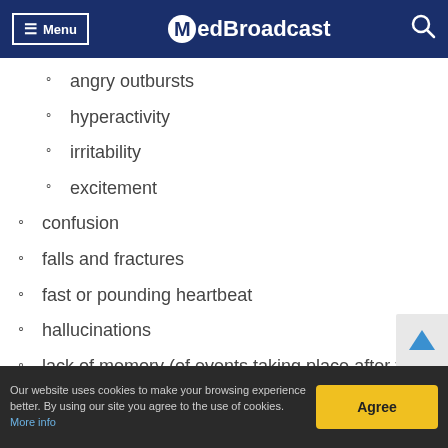Menu | MedBroadcast
angry outbursts
hyperactivity
irritability
excitement
confusion
falls and fractures
fast or pounding heartbeat
hallucinations
lack of memory (of events taking place after the
Our website uses cookies to make your browsing experience better. By using our site you agree to the use of cookies. More info